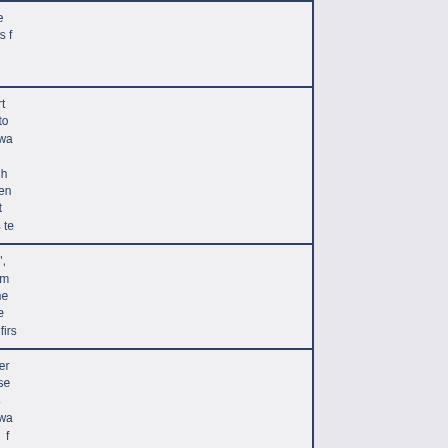| Date | Location | Event/Description |
| --- | --- | --- |
|  |  | unresolved threats Commonwealth's f[ailed...] |
| October 29 | New York, U.S. | A New York court LTTE operative to Sriskandarajah wa[s extradited] to the U.S. i[n...] Sriskandarajah h[ad procured] aviation equipment, software, night communications te[chnology...] |
| November 28 | Brussels, Belgium | 'The Last Phase', [a film on the] life story of a form[er LTTE leader and the] final stages of th[e war in Sri] Lanka was scree[ned in] Brussels for the firs[t time...] |
| December 6 | New Delhi, India | T.R. Baalu leader[ship] issued a notice se[eking motion] 193 in the Lok S[abha on ceasefire] violations and wa[r crimes by Sri] Lankan defence f[orces in the] civil war against th[e LTTE...] |